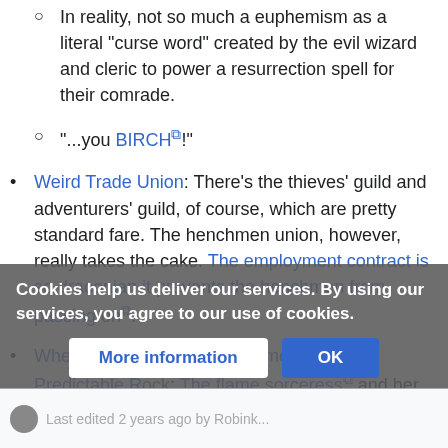In reality, not so much a euphemism as a literal "curse word" created by the evil wizard and cleric to power a resurrection spell for their comrade.
"...you BIRCH!"
Weird Trade Union: There's the thieves' guild and adventurers' guild, of course, which are pretty standard fare. The henchmen union, however, really takes the cake. The employment contract is so draconian it prevents the henchmen from passing on.
When All You Have Is a Hammer/Poor Predictable Rock: The flame sorceress and her ilk. Beaten with a parody Otiluke's themed spell, too.
Your Vampires Suck
Cookies help us deliver our services. By using our services, you agree to our use of cookies.
More information | OK
Last edited 2 years ago by Robink...